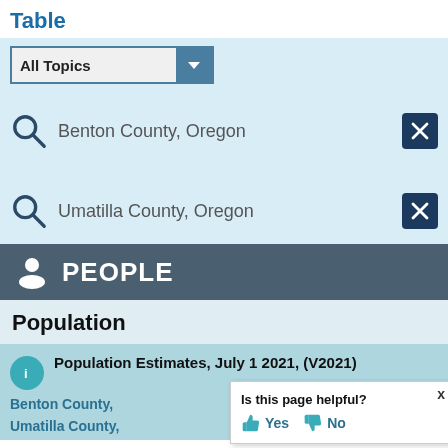Table
[Figure (screenshot): Dropdown filter labeled 'All Topics' with a dark teal arrow button]
Benton County, Oregon
Umatilla County, Oregon
PEOPLE
Population
Population Estimates, July 1 2021, (V2021)
Benton County,
Umatilla County,
Is this page helpful? Yes No